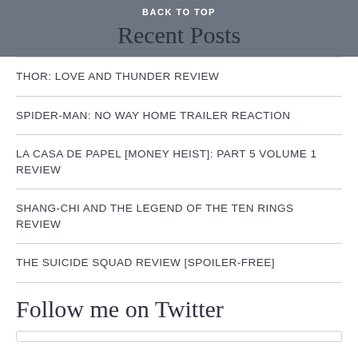BACK TO TOP
Recent Posts
THOR: LOVE AND THUNDER REVIEW
SPIDER-MAN: NO WAY HOME TRAILER REACTION
LA CASA DE PAPEL [MONEY HEIST]: PART 5 VOLUME 1 REVIEW
SHANG-CHI AND THE LEGEND OF THE TEN RINGS REVIEW
THE SUICIDE SQUAD REVIEW [SPOILER-FREE]
Follow me on Twitter